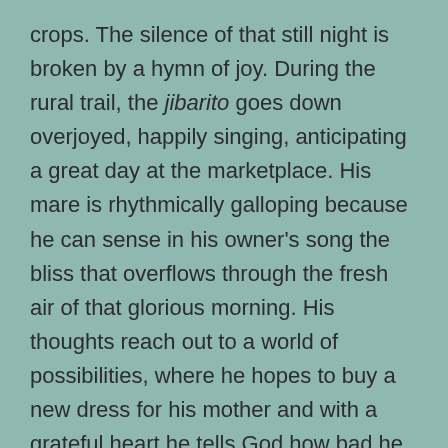crops. The silence of that still night is broken by a hymn of joy. During the rural trail, the jibarito goes down overjoyed, happily singing, anticipating a great day at the marketplace. His mare is rhythmically galloping because he can sense in his owner's song the bliss that overflows through the fresh air of that glorious morning. His thoughts reach out to a world of possibilities, where he hopes to buy a new dress for his mother and with a grateful heart he tells God how bad he wants to surprise his family, and help his neighbors with the earnings from selling his harvest.